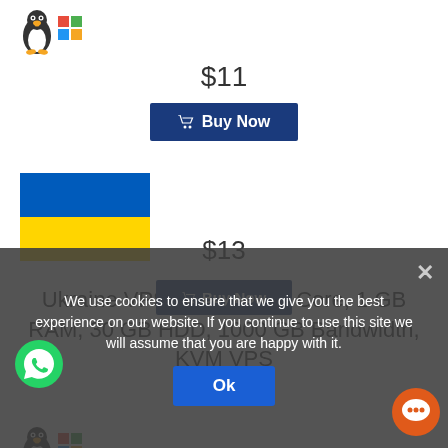[Figure (illustration): Linux penguin and Windows logo OS icons at top left of card]
$11
Buy Now
[Figure (illustration): Ukraine flag - blue top half, yellow bottom half]
Ukraine VPS Server X : 1 Core, 1 GB RAM, 30 GB HDD, 1000 GB Bandwidth, KVM VPS
[Figure (illustration): Linux penguin and Windows logo OS icons]
$13
Buy Now
We use cookies to ensure that we give you the best experience on our website. If you continue to use this site we will assume that you are happy with it.
Ok